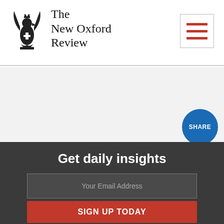[Figure (logo): The New Oxford Review eagle crest logo and site title]
[Figure (other): Hamburger menu button with three red horizontal lines inside a bordered square]
[Figure (other): Blue circular SHARE button]
Get daily insights
Your Email Address
SIGN UP TODAY